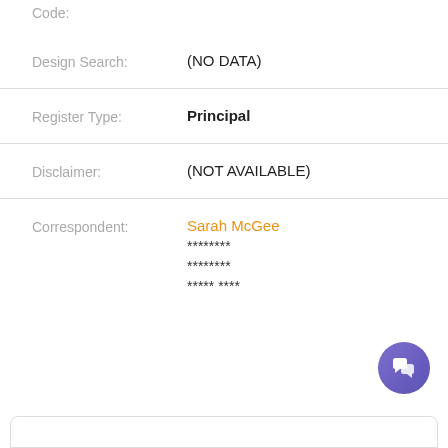Code:
Design Search: (NO DATA)
Register Type: Principal
Disclaimer: (NOT AVAILABLE)
Correspondent: Sarah McGee ******** ******** ***** ****